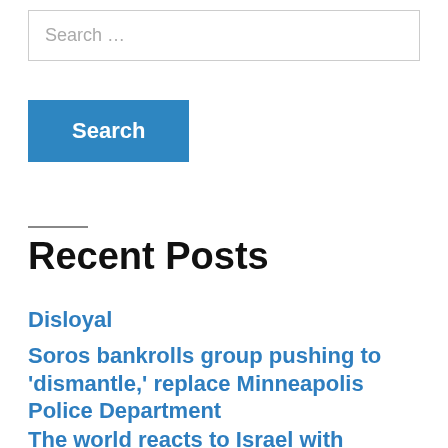Search …
Search
Recent Posts
Disloyal
Soros bankrolls group pushing to 'dismantle,' replace Minneapolis Police Department
The world reacts to Israel with